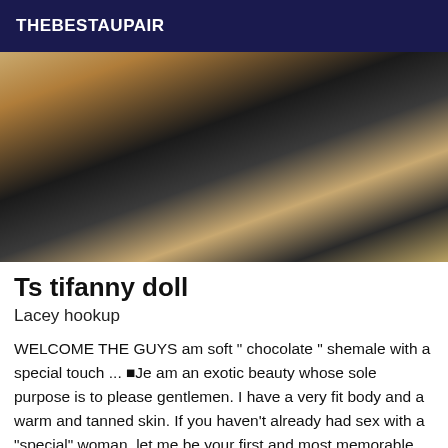THEBESTAUPAIR
[Figure (photo): Close-up photo of a person wearing white lingerie and white lace stockings, posed against a dark background with gold decorative elements.]
Ts tifanny doll
Lacey hookup
WELCOME THE GUYS am soft " chocolate " shemale with a special touch ... ■Je am an exotic beauty whose sole purpose is to please gentlemen. I have a very fit body and a warm and tanned skin. If you haven't already had sex with a "special" woman, let me be your first and most memorable moment. ■Je can be both passive and active. Let me know your fantasies so we can make